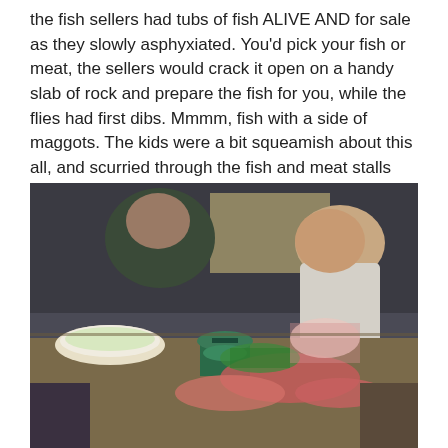the fish sellers had tubs of fish ALIVE AND for sale as they slowly asphyxiated. You'd pick your fish or meat, the sellers would crack it open on a handy slab of rock and prepare the fish for you, while the flies had first dibs. Mmmm, fish with a side of maggots. The kids were a bit squeamish about this all, and scurried through the fish and meat stalls without stopping much.
[Figure (photo): A market scene showing vendors and buyers at a fish and meat stall. A person leans over a table with various food items, bowls, a scale, and meat. Multiple people are visible in the background.]